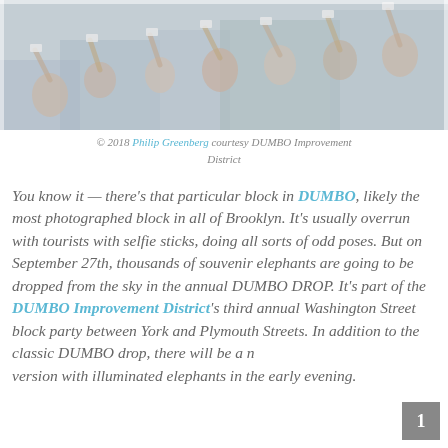[Figure (photo): Crowd scene, likely on a Brooklyn street in DUMBO, with people raising hands and taking photos with phones and selfie sticks. Appears to be an outdoor event.]
© 2018 Philip Greenberg courtesy DUMBO Improvement District
You know it — there's that particular block in DUMBO, likely the most photographed block in all of Brooklyn. It's usually overrun with tourists with selfie sticks, doing all sorts of odd poses. But on September 27th, thousands of souvenir elephants are going to be dropped from the sky in the annual DUMBO DROP. It's part of the DUMBO Improvement District's third annual Washington Street block party between York and Plymouth Streets. In addition to the classic DUMBO drop, there will be a night version with illuminated elephants in the early evening.